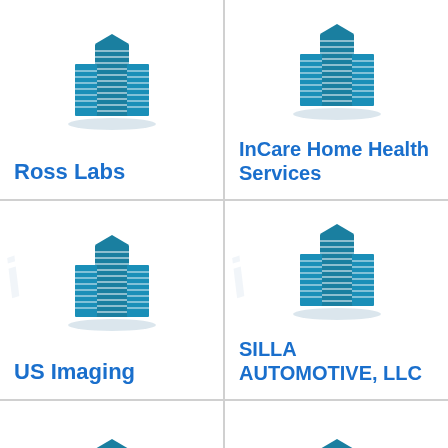[Figure (logo): Building/office tower icon in teal/blue]
Ross Labs
[Figure (logo): Building/office tower icon in teal/blue]
InCare Home Health Services
[Figure (logo): Building/office tower icon in teal/blue]
US Imaging
[Figure (logo): Building/office tower icon in teal/blue]
SILLA AUTOMOTIVE, LLC
[Figure (logo): Building/office tower icon in teal/blue (partial)]
[Figure (logo): Building/office tower icon in teal/blue (partial)]